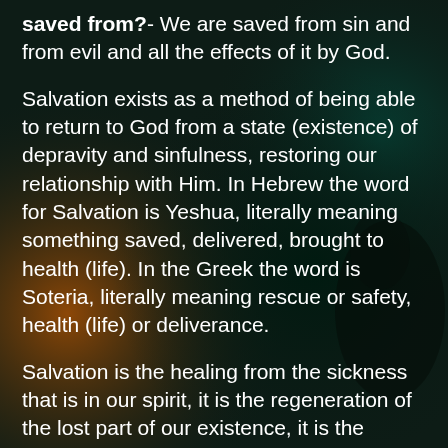saved from?- We are saved from sin and from evil and all the effects of it by God.
Salvation exists as a method of being able to return to God from a state (existence) of depravity and sinfulness, restoring our relationship with Him. In Hebrew the word for Salvation is Yeshua, literally meaning something saved, delivered, brought to health (life). In the Greek the word is Soteria, literally meaning rescue or safety, health (life) or deliverance.
Salvation is the healing from the sickness that is in our spirit, it is the regeneration of the lost part of our existence, it is the rebirth of our dead soul, dead because it was separated from the source of life. God is life;